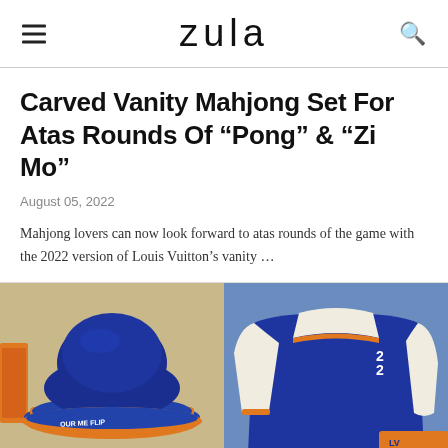zula
Carved Vanity Mahjong Set For Atas Rounds Of “Pong” & “Zi Mo”
August 05, 2022
Mahjong lovers can now look forward to atas rounds of the game with the 2022 version of Louis Vuitton’s vanity …
[Figure (photo): Two fashion items side by side: left shows a blue bucket hat with orange and illustrated graphic brim on a beige/tan background; right shows a blue and white varsity jacket with orange trim on a blue background.]